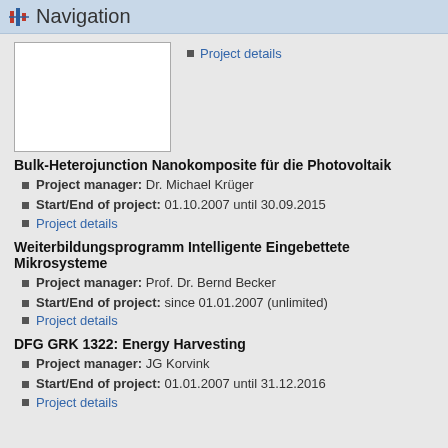Navigation
[Figure (other): Thumbnail image placeholder (white box with border)]
Project details
Bulk-Heterojunction Nanokomposite für die Photovoltaik
Project manager: Dr. Michael Krüger
Start/End of project: 01.10.2007 until 30.09.2015
Project details
Weiterbildungsprogramm Intelligente Eingebettete Mikrosysteme
Project manager: Prof. Dr. Bernd Becker
Start/End of project: since 01.01.2007 (unlimited)
Project details
DFG GRK 1322: Energy Harvesting
Project manager: JG Korvink
Start/End of project: 01.01.2007 until 31.12.2016
Project details